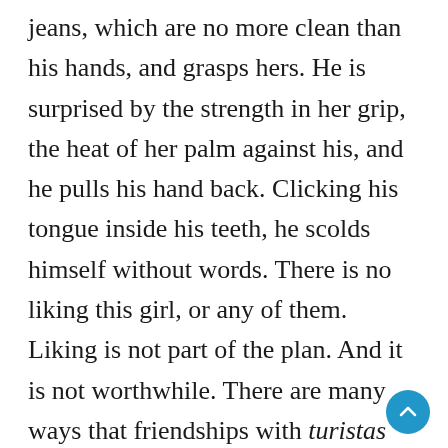jeans, which are no more clean than his hands, and grasps hers. He is surprised by the strength in her grip, the heat of her palm against his, and he pulls his hand back. Clicking his tongue inside his teeth, he scolds himself without words. There is no liking this girl, or any of them. Liking is not part of the plan. And it is not worthwhile. There are many ways that friendships with turistas can end, and none of them are good. He hops down and throws himself behind the wheel, clapping his hands for their attention. He